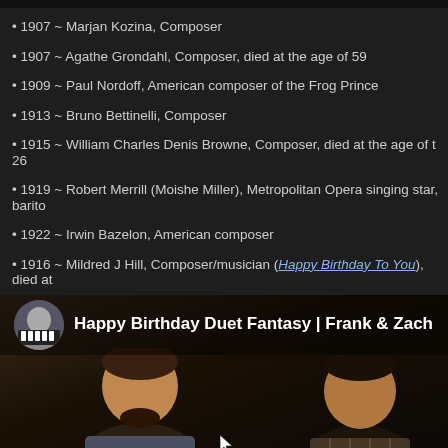1907 ~ Marjan Kozina, Composer
1907 ~ Agathe Grondahl, Composer, died at the age of 59
1909 ~ Paul Nordoff, American composer of the Frog Prince
1913 ~ Bruno Bettinelli, Composer
1915 ~ William Charles Denis Browne, Composer, died at the age of t 26
1919 ~ Robert Merrill (Moishe Miller), Metropolitan Opera singing star, barito
1922 ~ Irwin Bazelon, American composer
1916 ~ Mildred J Hill, Composer/musician (Happy Birthday To You), died at
[Figure (screenshot): Video thumbnail showing two young men playing piano, with channel avatar and title 'Happy Birthday Duet Fantasy | Frank & Zach']